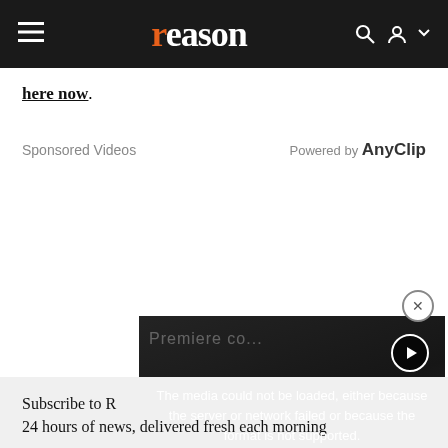reason
here now.
Sponsored Videos    Powered by AnyClip
[Figure (screenshot): Embedded video player showing a media error message: 'The media could not be loaded, either because the server or network failed or because the format is not supported.' A close (X) button and a play button are visible. The video thumbnail shows a person at what appears to be a public event.]
Subscribe to Reason's newsletter. 24 hours of news, delivered fresh each morning